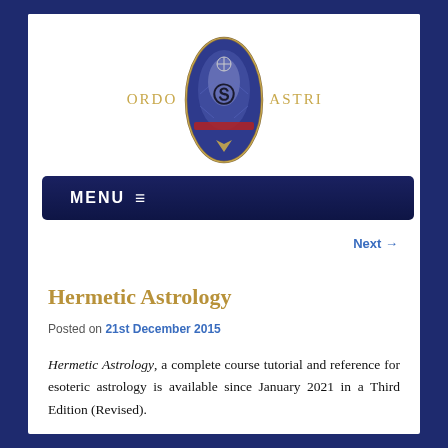[Figure (logo): Ordo Astri logo — an oval shield badge with a blue/purple vesica shape containing esoteric symbols, flanked by the text ORDO on the left and ASTRI on the right in gold letters]
MENU ≡
Next →
Hermetic Astrology
Posted on 21st December 2015
Hermetic Astrology, a complete course tutorial and reference for esoteric astrology is available since January 2021 in a Third Edition (Revised).